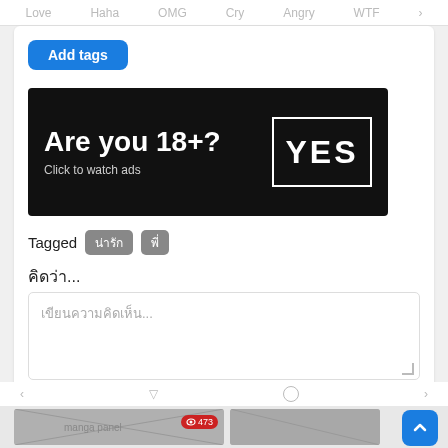Love  Haha  OMG  Cry  Angry  WTF
Add tags
[Figure (screenshot): Black advertisement banner reading 'Are you 18+? Click to watch ads' with a YES button in a white border box]
Tagged น่ารัก พี่
คิดว่า...
เขียนความคิดเห็น...
[Figure (screenshot): Manga/comic thumbnail images at the bottom with a view count badge showing 473]